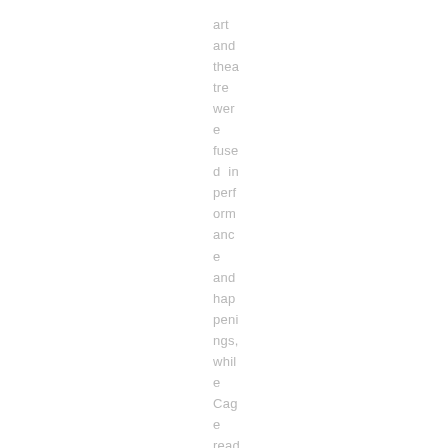art and theatre were fused in performance and happenings, while Cage read poems